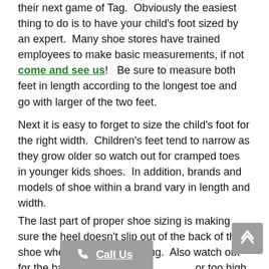their next game of Tag.  Obviously the easiest thing to do is to have your child's foot sized by an expert.  Many shoe stores have trained employees to make basic measurements, if not come and see us!  Be sure to measure both feet in length according to the longest toe and go with larger of the two feet.
Next it is easy to forget to size the child's foot for the right width.  Children's feet tend to narrow as they grow older so watch out for cramped toes in younger kids shoes.  In addition, brands and models of shoe within a brand vary in length and width.
The last part of proper shoe sizing is making sure the heel doesn't slip out of the back of the shoe when walking or running.  Also watch out for the back of the shoe or too high